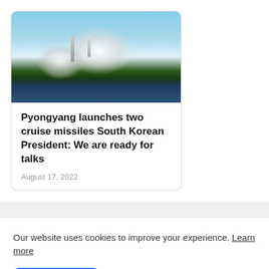[Figure (photo): Rocket launch with large white smoke cloud billowing below, green treeline and water in middle ground, blue sky background]
Pyongyang launches two cruise missiles South Korean President: We are ready for talks
August 17, 2022
Our website uses cookies to improve your experience. Learn more